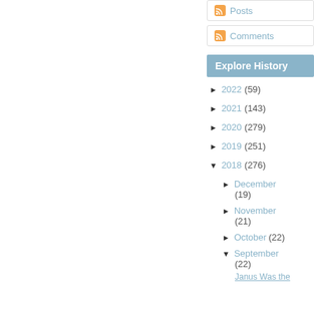Posts
Comments
Explore History
► 2022 (59)
► 2021 (143)
► 2020 (279)
► 2019 (251)
▼ 2018 (276)
► December (19)
► November (21)
► October (22)
▼ September (22)
Janus Was the